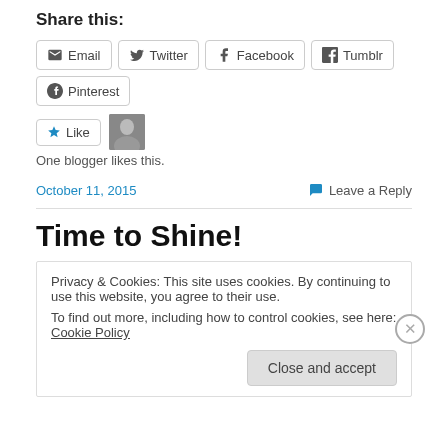Share this:
Email  Twitter  Facebook  Tumblr  Pinterest
One blogger likes this.
October 11, 2015   Leave a Reply
Time to Shine!
Privacy & Cookies: This site uses cookies. By continuing to use this website, you agree to their use.
To find out more, including how to control cookies, see here: Cookie Policy
Close and accept